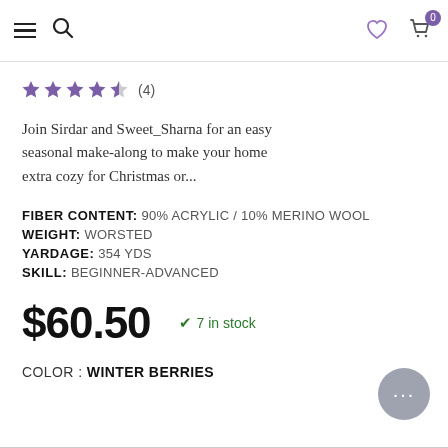Navigation bar with menu, search, heart/wishlist, and cart (0 items)
★★★★½ (4)
Join Sirdar and Sweet_Sharna for an easy seasonal make-along to make your home extra cozy for Christmas or...
FIBER CONTENT: 90% ACRYLIC / 10% MERINO WOOL
WEIGHT: WORSTED
YARDAGE: 354 YDS
SKILL: BEGINNER-ADVANCED
$60.50  ✓ 7 in stock
COLOR : WINTER BERRIES